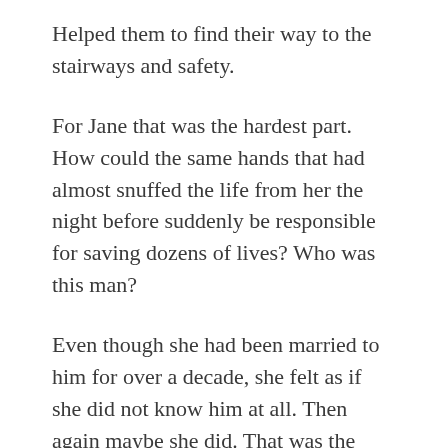Helped them to find their way to the stairways and safety.
For Jane that was the hardest part. How could the same hands that had almost snuffed the life from her the night before suddenly be responsible for saving dozens of lives? Who was this man?
Even though she had been married to him for over a decade, she felt as if she did not know him at all. Then again maybe she did. That was the problem. John was always one person to the world. But another at home.
Jane and the children had received